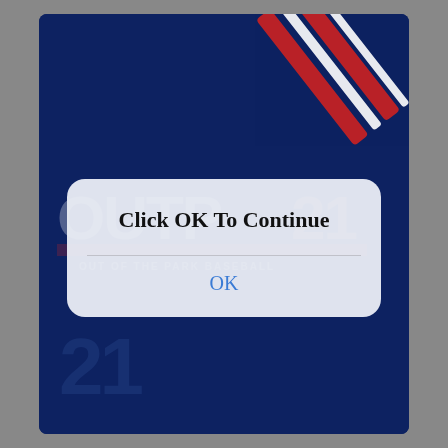[Figure (screenshot): Screenshot of a mobile app dialog over a dark navy blue background with the 'Out of the Park Baseball 21' (OOTP21) game logo visible as a watermark. The dialog box shows 'Click OK To Continue' with an OK button below it.]
Click OK To Continue
OK